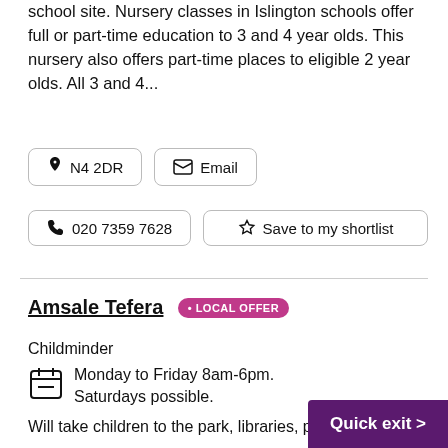school site. Nursery classes in Islington schools offer full or part-time education to 3 and 4 year olds. This nursery also offers part-time places to eligible 2 year olds. All 3 and 4...
N4 2DR
Email
020 7359 7628
Save to my shortlist
Amsale Tefera • LOCAL OFFER
Childminder
Monday to Friday 8am-6pm. Saturdays possible.
Will take children to the park, libraries, playgrounds.
Quick exit >